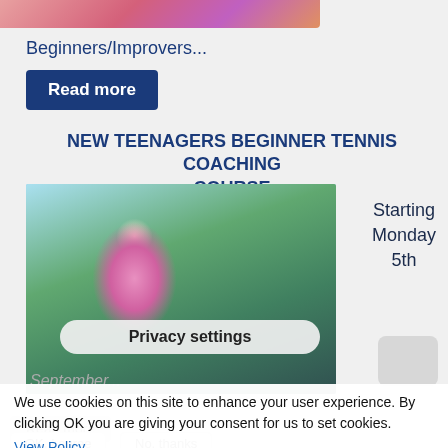[Figure (photo): Partial tennis image at top of page showing pink/orange colors]
Beginners/Improvers...
Read more
NEW TEENAGERS BEGINNER TENNIS COACHING COURSE
[Figure (photo): Young girl in pink top hitting a tennis ball on a court, another player visible in background]
Starting Monday 5th
Privacy settings
September...
We use cookies on this site to enhance your user experience. By clicking OK you are giving your consent for us to set cookies.
View Policy
Read more
OK, I agree
No, thanks